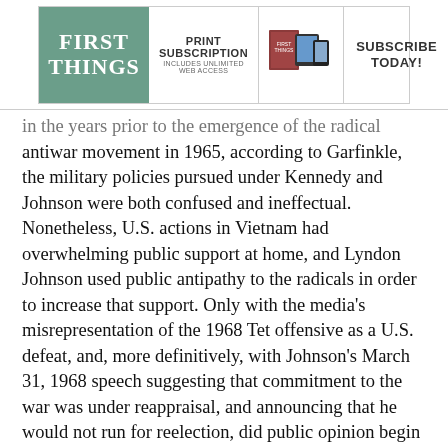[Figure (advertisement): First Things magazine advertisement banner showing logo, print subscription offer with unlimited web access, device images, and Subscribe Today call to action]
in the years prior to the emergence of the radical antiwar movement in 1965, according to Garfinkle, the military policies pursued under Kennedy and Johnson were both confused and ineffectual. Nonetheless, U.S. actions in Vietnam had overwhelming public support at home, and Lyndon Johnson used public antipathy to the radicals in order to increase that support. Only with the media's misrepresentation of the 1968 Tet offensive as a U.S. defeat, and, more definitively, with Johnson's March 31, 1968 speech suggesting that commitment to the war was under reappraisal, and announcing that he would not run for reelection, did public opinion begin to turn against the war. The stepping back from the war that Johnson began was completed by Nixon and Kissinger. Not, says